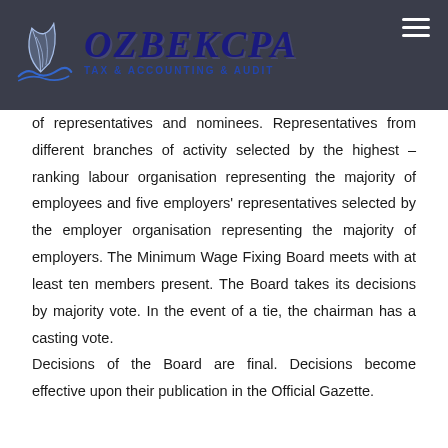OZBEKCPA TAX & ACCOUNTING & AUDIT
of representatives and nominees. Representatives from different branches of activity selected by the highest – ranking labour organisation representing the majority of employees and five employers' representatives selected by the employer organisation representing the majority of employers. The Minimum Wage Fixing Board meets with at least ten members present. The Board takes its decisions by majority vote. In the event of a tie, the chairman has a casting vote.

Decisions of the Board are final. Decisions become effective upon their publication in the Official Gazette.